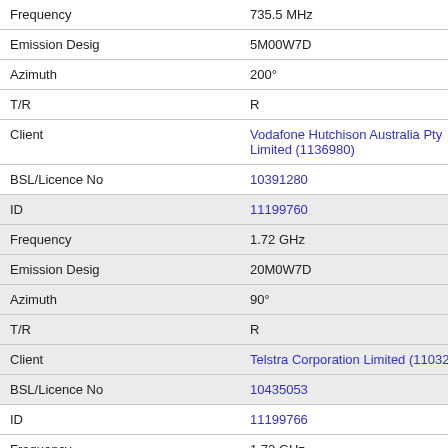| Field | Value |
| --- | --- |
| Frequency | 735.5 MHz |
| Emission Desig | 5M00W7D |
| Azimuth | 200° |
| T/R | R |
| Client | Vodafone Hutchison Australia Pty Limited (1136980) |
| BSL/Licence No | 10391280 |
| ID | 11199760 |
| Frequency | 1.72 GHz |
| Emission Desig | 20M0W7D |
| Azimuth | 90° |
| T/R | R |
| Client | Telstra Corporation Limited (1103275) |
| BSL/Licence No | 10435053 |
| ID | 11199766 |
| Frequency | 1.72 GHz |
| Emission Desig | 20M0W7D |